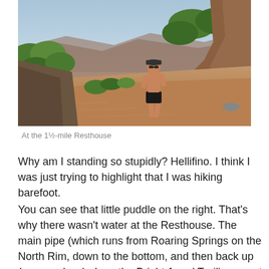[Figure (photo): A shirtless person wearing black shorts and a cap walks along a narrow rocky trail on the edge of a canyon cliff, with green trees and canyon views visible in the background. The trail surface is red dirt and rock.]
At the 1½-mile Resthouse
Why am I standing so stupidly? Hellifino. I think I was just trying to highlight that I was hiking barefoot.
You can see that little puddle on the right. That's why there wasn't water at the Resthouse. The main pipe (which runs from Roaring Springs on the North Rim, down to the bottom, and then back up (more-or-less) along the Bright Angel Trail) was not broken at all. What had broken was